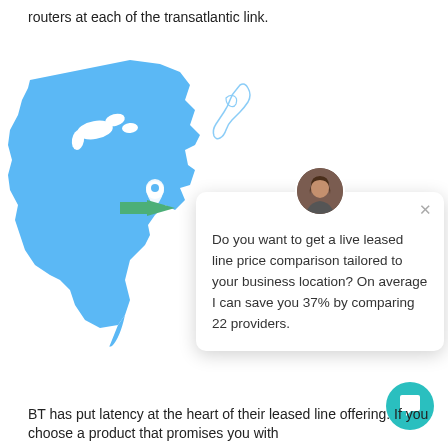routers at each of the transatlantic link.
[Figure (map): Blue silhouette map of the eastern United States with a location pin marker and a green arrow pointing left, alongside an outline of the UK/Scotland in the upper right.]
Do you want to get a live leased line price comparison tailored to your business location? On average I can save you 37% by comparing 22 providers.
BT has put latency at the heart of their leased line offering. If you choose a product that promises you with...